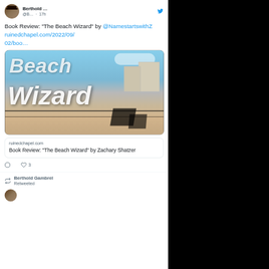[Figure (screenshot): Twitter/social media screenshot showing a tweet by Berthold with handle @B... posted 17h ago. Tweet text: Book Review: "The Beach Wizard" by @NamestartswithZ ruinedchapel.com/2022/09/02/boo…. Includes a link preview image with 'Beach Wizard' text overlaid on a beach boardwalk scene. Link preview shows ruinedchapel.com and title 'Book Review: “The Beach Wizard” by Zachary Shatzer'. Actions: reply, 3 likes. Below: Berthold Gambrel Retweeted section.]